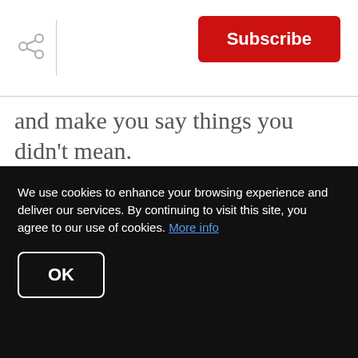Subscribe
and make you say things you didn't mean.
Step 8: Hire
We use cookies to enhance your browsing experience and deliver our services. By continuing to visit this site, you agree to our use of cookies. More info
OK